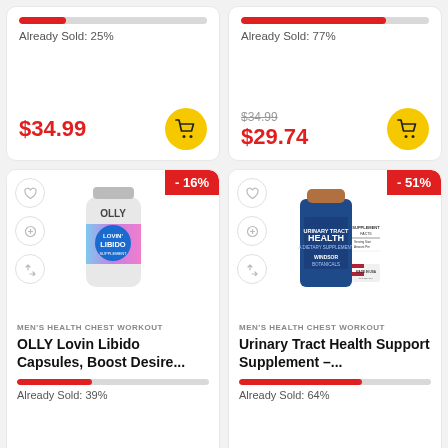Already Sold: 25%
$34.99
Already Sold: 77%
$34.99 $29.74
[Figure (photo): OLLY Lovin Libido supplement bottle]
MEN'S HEALTH CHEST WORKOUT
OLLY Lovin Libido Capsules, Boost Desire...
Already Sold: 39%
[Figure (photo): Windsor Botanicals Urinary Tract Health supplement bottle]
MEN'S HEALTH CHEST WORKOUT
Urinary Tract Health Support Supplement –...
Already Sold: 64%